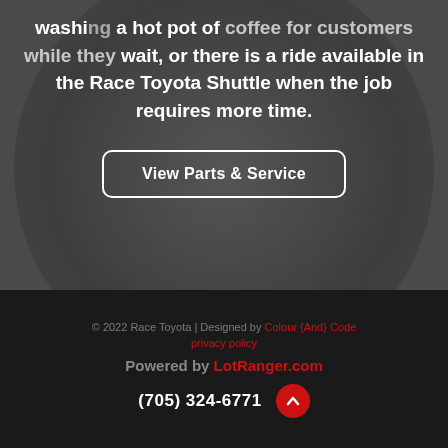washing... a hot pot of coffee for customers while they wait, or there is a ride available in the Race Toyota Shuttle when the job requires more time.
View Parts & Service
© 2022 Race Toyota | Designed by Colour {And} Code
privacy policy
Powered by LotRanger.com
(705) 324-6771